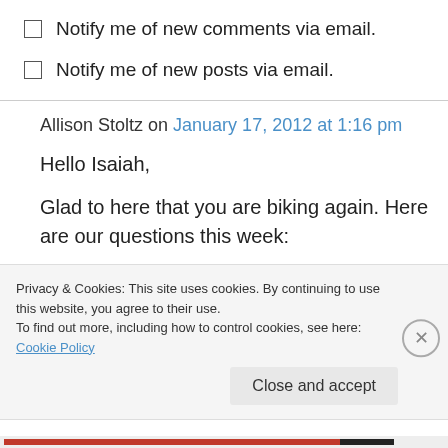Notify me of new comments via email.
Notify me of new posts via email.
Allison Stoltz on January 17, 2012 at 1:16 pm
Hello Isaiah,
Glad to here that you are biking again. Here are our questions this week:
Privacy & Cookies: This site uses cookies. By continuing to use this website, you agree to their use. To find out more, including how to control cookies, see here: Cookie Policy